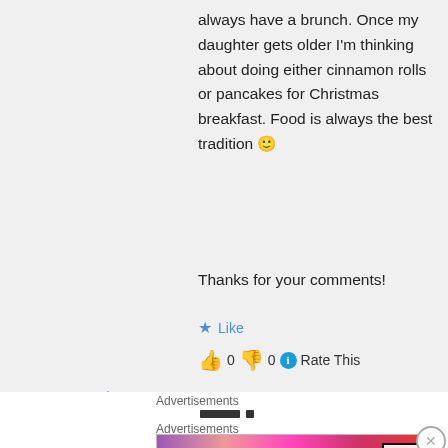always have a brunch. Once my daughter gets older I'm thinking about doing either cinnamon rolls or pancakes for Christmas breakfast. Food is always the best tradition 🙂
Thanks for your comments!
★ Like
👍 0 👎 0 ℹ Rate This
↳ Reply
Advertisements
Advertisements
[Figure (photo): MAC Cosmetics advertisement banner with lipsticks and SHOP NOW box]